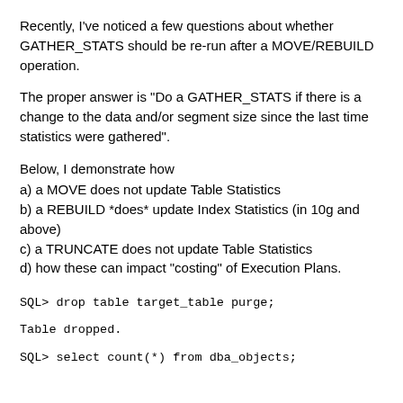Recently, I've noticed a few questions about whether GATHER_STATS should be re-run after a MOVE/REBUILD operation.
The proper answer is "Do a GATHER_STATS if there is a change to the data and/or segment size since the last time statistics were gathered".
Below, I demonstrate how
a) a MOVE does not update Table Statistics
b) a REBUILD *does* update Index Statistics (in 10g and above)
c) a TRUNCATE does not update Table Statistics
d) how these can impact "costing" of Execution Plans.
SQL> drop table target_table purge;
Table dropped.
SQL> select count(*) from dba_objects;